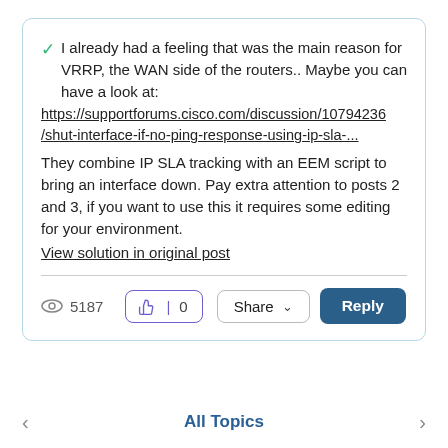✓ I already had a feeling that was the main reason for VRRP, the WAN side of the routers.. Maybe you can have a look at: https://supportforums.cisco.com/discussion/10794236/shut-interface-if-no-ping-response-using-ip-sla-... They combine IP SLA tracking with an EEM script to bring an interface down. Pay extra attention to posts 2 and 3, if you want to use this it requires some editing for your environment.
View solution in original post
5187
0
Share
Reply
All Topics